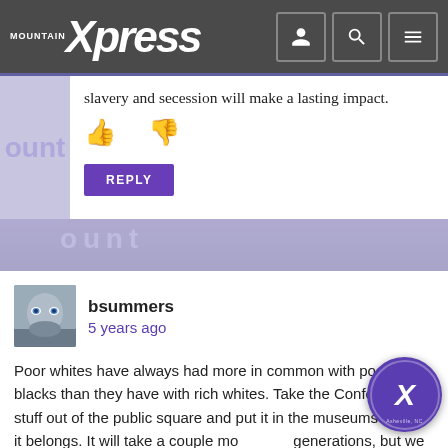Mountain Xpress
slavery and secession will make a lasting impact.
bsummers
5 years ago
Poor whites have always had more in common with poor blacks than they have with rich whites. Take the Confederate stuff out of the public square and put it in the museums where it belongs. It will take a couple more generations, but we gotta try to heal as a nation. That'll never happen while there's still people saying that the attempt to split us in half was a good, honorable thing